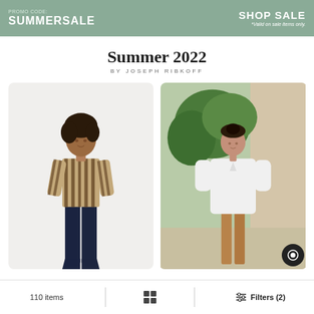PROMO CODE: SUMMERSALE — SHOP SALE *Valid on sale items only.
Summer 2022
BY JOSEPH RIBKOFF
[Figure (photo): Woman in striped long-sleeve blouse and dark flare jeans on white background]
[Figure (photo): Woman in white oversized button-down shirt and tan pants standing outdoors on a sidewalk]
110 items   [grid icon]   Filters (2)